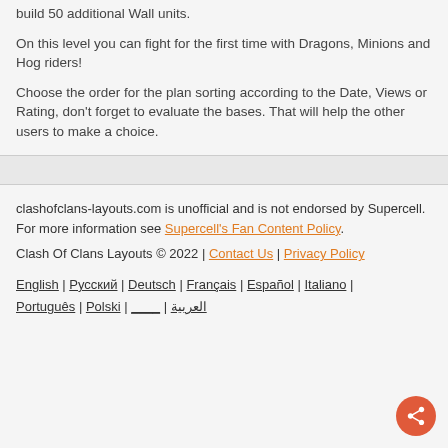build 50 additional Wall units.
On this level you can fight for the first time with Dragons, Minions and Hog riders!
Choose the order for the plan sorting according to the Date, Views or Rating, don't forget to evaluate the bases. That will help the other users to make a choice.
clashofclans-layouts.com is unofficial and is not endorsed by Supercell. For more information see Supercell's Fan Content Policy.
Clash Of Clans Layouts © 2022 | Contact Us | Privacy Policy
English | Русский | Deutsch | Français | Español | Italiano | Português | Polski | ____ | العربية